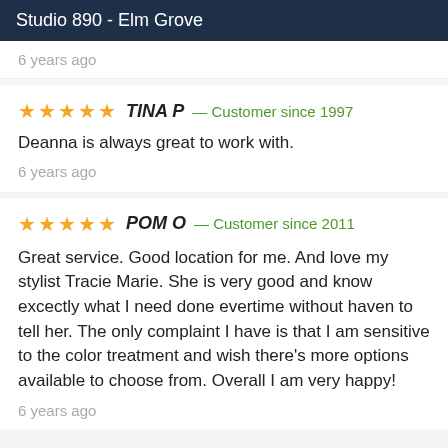Studio 890 - Elm Grove
6 years ago
★★★★★ TINA P — Customer since 1997
Deanna is always great to work with.
6 years ago
★★★★★ POM O — Customer since 2011
Great service. Good location for me. And love my stylist Tracie Marie. She is very good and know excectly what I need done evertime without haven to tell her. The only complaint I have is that I am sensitive to the color treatment and wish there's more options available to choose from. Overall I am very happy!
6 years ago